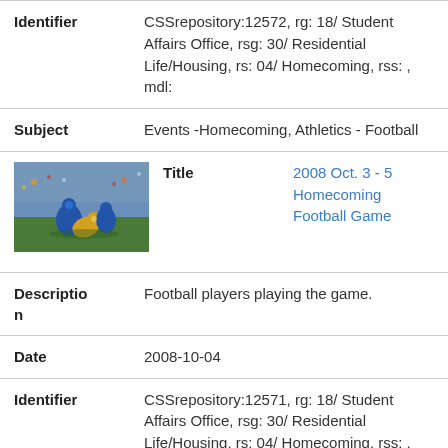| Field | Value |
| --- | --- |
| Identifier | CSSrepository:12572, rg: 18/ Student Affairs Office, rsg: 30/ Residential Life/Housing, rs: 04/ Homecoming, rss: , mdl: |
| Subject | Events -Homecoming, Athletics - Football |
[Figure (photo): Football players playing the game during homecoming]
| Field | Value |
| --- | --- |
| Title | 2008 Oct. 3 - 5 Homecoming Football Game |
| Description | Football players playing the game. |
| Date | 2008-10-04 |
| Identifier | CSSrepository:12571, rg: 18/ Student Affairs Office, rsg: 30/ Residential Life/Housing, rs: 04/ Homecoming, rss: , mdl: |